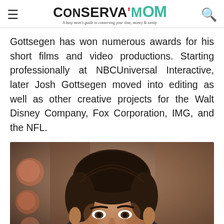ConservaMom – A busy mom's guide to conserving your time, money & sanity
Gottsegen has won numerous awards for his short films and video productions. Starting professionally at NBCUniversal Interactive, later Josh Gottsegen moved into editing as well as other creative projects for the Walt Disney Company, Fox Corporation, IMG, and the NFL.
[Figure (photo): Portrait photo of Josh Gottsegen, a man with dark hair, looking slightly downward, with a blurred warm-toned background.]